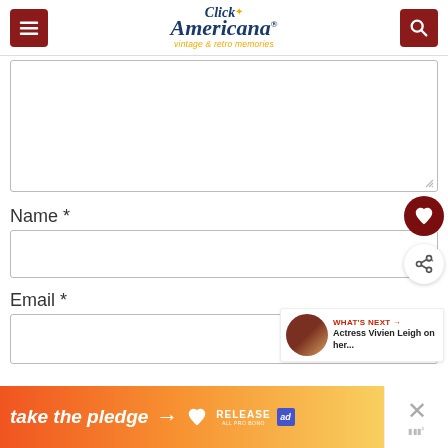Click Americana — vintage & retro memories
[Figure (screenshot): Large comment text area input box, empty, with resize handle]
Name *
[Figure (screenshot): Name text input field, empty]
Email *
[Figure (screenshot): Email text input field, empty]
[Figure (infographic): Ad banner: take the pledge arrow, with Release logo and ad tag. Close button with X and Moat logo.]